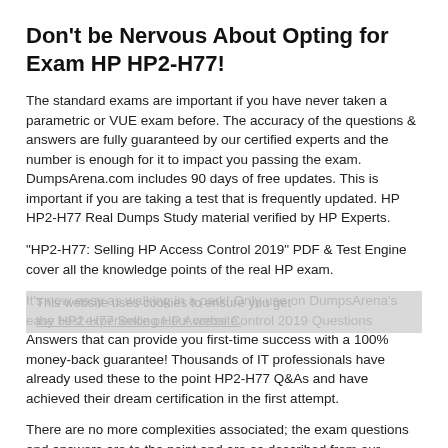Don't be Nervous About Opting for Exam HP HP2-H77!
The standard exams are important if you have never taken a parametric or VUE exam before. The accuracy of the questions & answers are fully guaranteed by our certified experts and the number is enough for it to impact you passing the exam. DumpsArena.com includes 90 days of free updates. This is important if you are taking a test that is frequently updated. HP HP2-H77 Real Dumps Study material verified by HP Experts.
"HP2-H77: Selling HP Access Control 2019" PDF & Test Engine cover all the knowledge points of the real HP exam.
It's now easy as walking in a park! Only use on DumpsArena's easy HP2-H77 Selling HP Access Control 2019 Questions Answers that can provide you first-time success with a 100% money-back guarantee! Thousands of IT professionals have already used these to the point HP2-H77 Q&As and have achieved their dream certification in the first attempt.
There are no more complexities associated; the exam questions and answers are to the point and are as described from our experts will be...